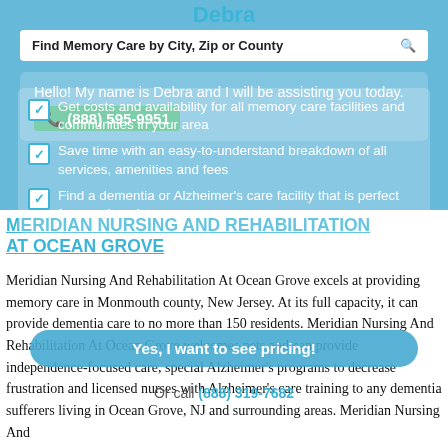Debra
Find Memory Care by City, Zip or County
Hello! My name is Debra and I will be assisting you today. (888) 595-9951
Get costs and availability for all memory care facilities and communities in your area
Save time with an easy-to-understand breakdown of all services, amenities and fees
Find a dementia or Alzheimer's care facility that is perfect for your loved one
MERIDIAN NURSING AND REHABILITATION AT OCEAN GROVE
Meridian Nursing And Rehabilitation At Ocean Grove excels at providing memory care in Monmouth county, New Jersey. At its full capacity, it can provide dementia care to no more than 150 residents. Meridian Nursing And Rehabilitation At Ocean Grove welcomes pets and can provide independence-focused care, special Alzheimer's programs to decrease frustration and licensed nurses with Alzheimer's care training to any dementia sufferers living in Ocean Grove, NJ and surrounding areas. Meridian Nursing And
Yes, I want to see pricing!
Or call (888) 319-7682